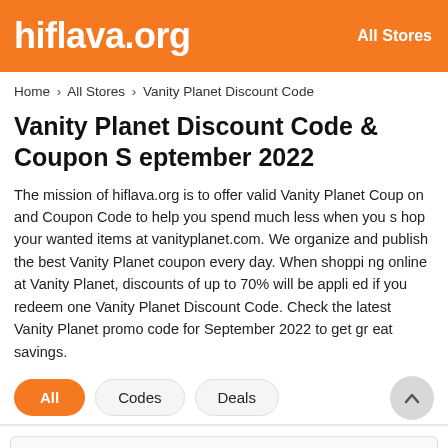hiflava.org | All Stores
Home > All Stores > Vanity Planet Discount Code
Vanity Planet Discount Code & Coupon September 2022
The mission of hiflava.org is to offer valid Vanity Planet Coupon and Coupon Code to help you spend much less when you shop your wanted items at vanityplanet.com. We organize and publish the best Vanity Planet coupon every day. When shopping online at Vanity Planet, discounts of up to 70% will be applied if you redeem one Vanity Planet Discount Code. Check the latest Vanity Planet promo code for September 2022 to get great savings.
All | Codes | Deals
At Vanity Planet Take Up To 20%